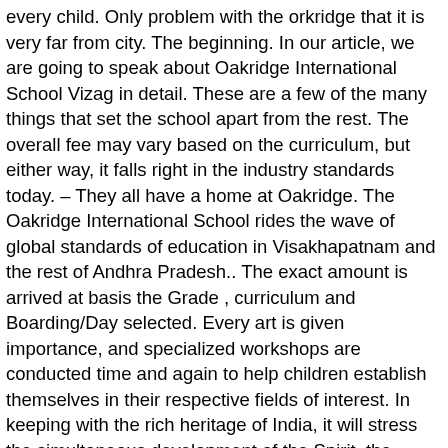every child. Only problem with the orkridge that it is very far from city. The beginning. In our article, we are going to speak about Oakridge International School Vizag in detail. These are a few of the many things that set the school apart from the rest. The overall fee may vary based on the curriculum, but either way, it falls right in the industry standards today. – They all have a home at Oakridge. The Oakridge International School rides the wave of global standards of education in Visakhapatnam and the rest of Andhra Pradesh.. The exact amount is arrived at basis the Grade , curriculum and Boarding/Day selected. Every art is given importance, and specialized workshops are conducted time and again to help children establish themselves in their respective fields of interest. In keeping with the rich heritage of India, it will stress the simultaneous development of the Spirit, the Mind, and the Body and endeavor to send out compassionate, responsible and innovative students committed to change and progress in the development of India and the global environment. Set in a beautiful and green environment, we focus on bringing high quality learning experiences to every child. Oakridge Vizag Campus Provide its students with a comprehensive system of holistic education. Oakridge International School in Tagarapuvalasa, Vizag. We can be reached at: Sri Sathya Sai Vidya Vihar Sector-8, M.V.P.Colony Visakhapatnam-530017 Mob:0891-2552041, 2784277 Fax:0891-2783905 sssvidyavihar@yahoo.co.in Admissions Process. We have been listed